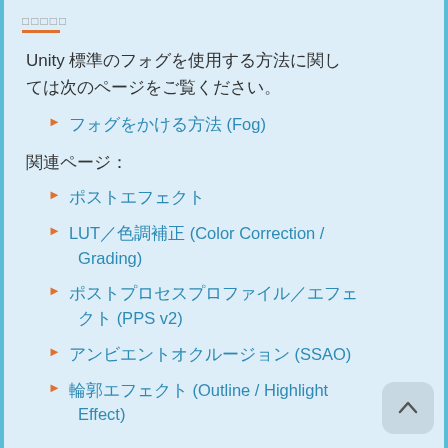□□□□□
Unity 標準のフォグを使用する方法に関しては次のページをご覧ください。
フォグをかける方法 (Fog)
関連ページ：
ポストエフェクト
LUT／色調補正 (Color Correction / Grading)
ポストプロセスプロファイル／エフェクト (PPS v2)
アンビエントオクルージョン (SSAO)
輪郭エフェクト (Outline / Highlight Effect)